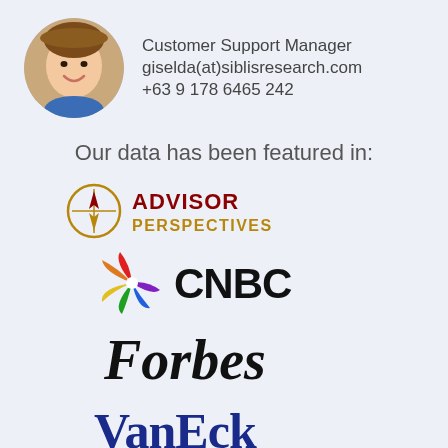[Figure (photo): Circular profile photo of a young woman smiling, wearing a blue top]
Customer Support Manager
giselda(at)siblisresearch.com
+63 9 178 6465 242
Our data has been featured in:
[Figure (logo): Advisor Perspectives logo with compass rose icon, dark red and gold text]
[Figure (logo): CNBC logo with NBC peacock icon in multicolor and CNBC in black bold text]
[Figure (logo): Forbes logo in black serif italic font]
[Figure (logo): VanEck logo in bold dark blue serif font]